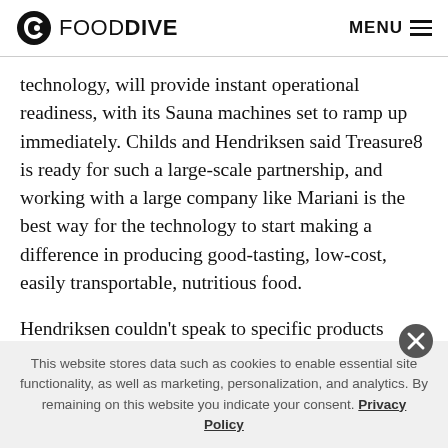FOOD DIVE   MENU
technology, will provide instant operational readiness, with its Sauna machines set to ramp up immediately. Childs and Hendriksen said Treasure8 is ready for such a large-scale partnership, and working with a large company like Mariani is the best way for the technology to start making a difference in producing good-tasting, low-cost, easily transportable, nutritious food.

Hendriksen couldn't speak to specific products Treasure8
This website stores data such as cookies to enable essential site functionality, as well as marketing, personalization, and analytics. By remaining on this website you indicate your consent. Privacy Policy